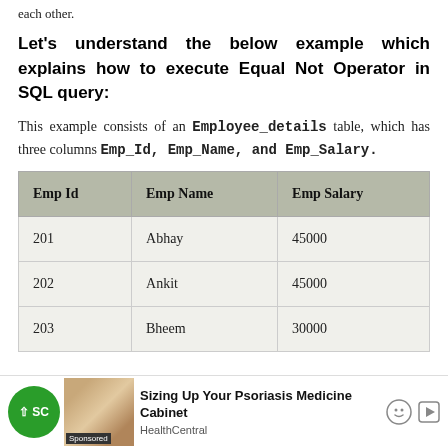each other.
Let's understand the below example which explains how to execute Equal Not Operator in SQL query:
This example consists of an Employee_details table, which has three columns Emp_Id, Emp_Name, and Emp_Salary.
| Emp Id | Emp Name | Emp Salary |
| --- | --- | --- |
| 201 | Abhay | 45000 |
| 202 | Ankit | 45000 |
| 203 | Bheem | 30000 |